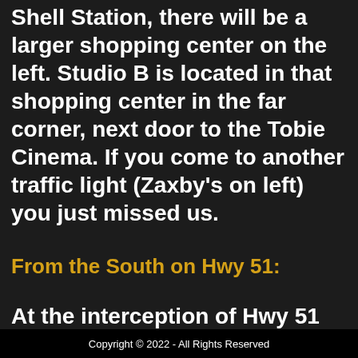Shell Station, there will be a larger shopping center on the left. Studio B is located in that shopping center in the far corner, next door to the Tobie Cinema. If you come to another traffic light (Zaxby's on left) you just missed us.
From the South on Hwy 51:
At the interception of Hwy 51
Copyright © 2022 - All Rights Reserved